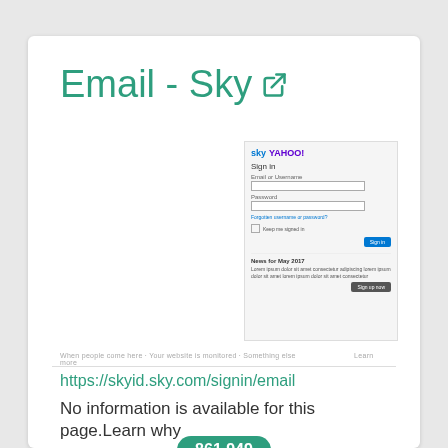Email - Sky
[Figure (screenshot): Screenshot of Sky Yahoo Sign in page with email/password fields and a blue Sign In button, plus a news section below]
https://skyid.sky.com/signin/email
No information is available for this page.Learn why
861,949
Monthly Visits